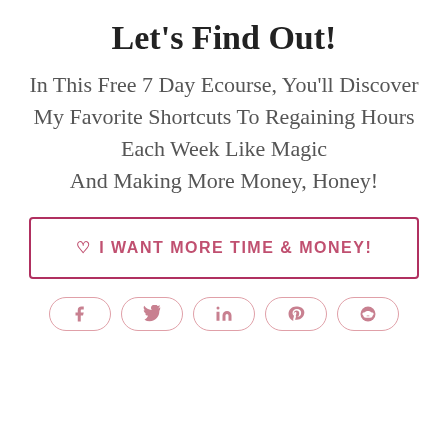Let's Find Out!
In This Free 7 Day Ecourse, You'll Discover
My Favorite Shortcuts To Regaining Hours
Each Week Like Magic
And Making More Money, Honey!
♡ I WANT MORE TIME & MONEY!
[Figure (other): Social share buttons: Facebook, Twitter, LinkedIn, Pinterest, Reddit]